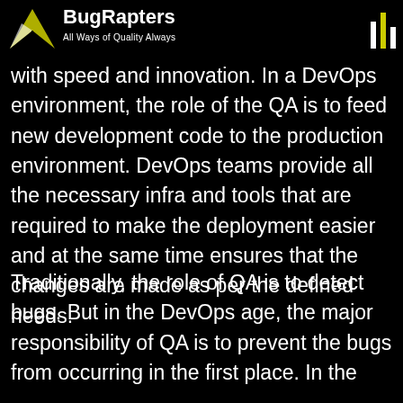BugRapters | All Ways of Quality Always
with speed and innovation. In a DevOps environment, the role of the QA is to feed new development code to the production environment. DevOps teams provide all the necessary infra and tools that are required to make the deployment easier and at the same time ensures that the changes are made as per the defined needs.
Traditionally, the role of QA is to detect bugs. But in the DevOps age, the major responsibility of QA is to prevent the bugs from occurring in the first place. In the